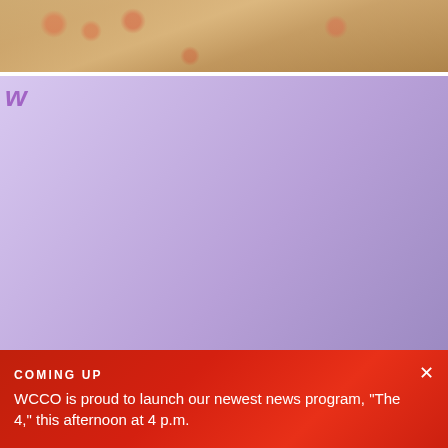[Figure (photo): Partial photo of a person wearing a floral-patterned garment, cropped at top of page]
"The most painful thing": Minneapolis man details monkeypox experience
SEP 3
Updated COVID booster shots to become available in Minnesota starting next week
SEP 2
[Figure (photo): Rows of COVID vaccine vials in blister packaging]
Is the BA.2.75 COVID variant in Minnesota?
SEP 2
[Figure (photo): Gloved hand holding a COVID test kit]
Jane Fonda diagnosed with non-Hodgkin's
[Figure (photo): Partially visible photo with purple tones]
COMING UP
WCCO is proud to launch our newest news program, "The 4," this afternoon at 4 p.m.